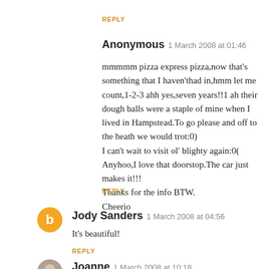REPLY
Anonymous  1 March 2008 at 01:46
mmmmm pizza express pizza,now that's something that I haven'thad in,hmm let me count,1-2-3 ahh yes,seven years!!1 ah their dough balls were a staple of mine when I lived in Hampstead.To go please and off to the heath we would trot:0)
I can't wait to visit ol' blighty again:0(
Anyhoo,I love that doorstop.The car just makes it!!!
Thanks for the info BTW.
Cheerio
REPLY
Jody Sanders  1 March 2008 at 04:56
It's beautiful!
REPLY
Joanne  1 March 2008 at 10:18